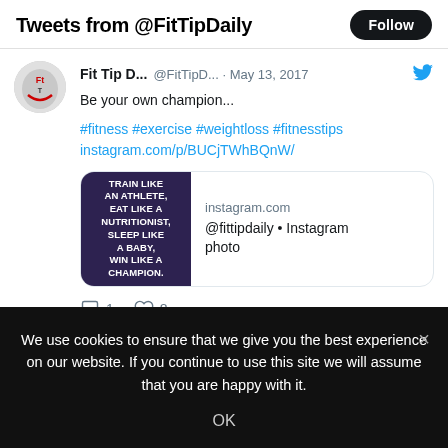Tweets from @FitTipDaily
Fit Tip D... @FitTipD... · May 13, 2017
Be your own champion...
#fitness #exercise #weightloss #fitnesstips instagram.com/p/BUCjTWhBQnW/
[Figure (screenshot): Instagram link preview showing motivational text: TRAIN LIKE AN ATHLETE, EAT LIKE A NUTRITIONIST, SLEEP LIKE A BABY, WIN LIKE A CHAMPION. with instagram.com domain and @fittipdaily • Instagram photo]
1   8
We use cookies to ensure that we give you the best experience on our website. If you continue to use this site we will assume that you are happy with it.
OK